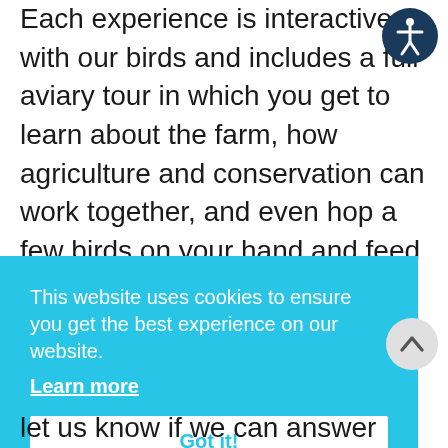Each experience is interactive with our birds and includes a full aviary tour in which you get to learn about the farm, how agriculture and conservation can work together, and even hop a few birds on your hand and feed them. Learn about our commitment to sustainability with
[Figure (other): Accessibility icon — white person figure in a dark navy circle, top-right corner]
This website uses cookies to ensure you get the best experience on our website. Learn more
Got it!
[Figure (other): Scroll-to-top button — upward arrow in a light gray circle, right side]
let us know if we can answer